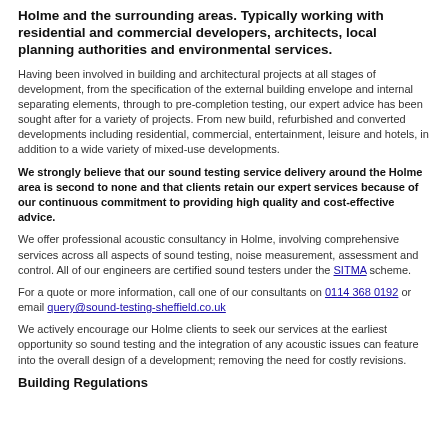Holme and the surrounding areas. Typically working with residential and commercial developers, architects, local planning authorities and environmental services.
Having been involved in building and architectural projects at all stages of development, from the specification of the external building envelope and internal separating elements, through to pre-completion testing, our expert advice has been sought after for a variety of projects. From new build, refurbished and converted developments including residential, commercial, entertainment, leisure and hotels, in addition to a wide variety of mixed-use developments.
We strongly believe that our sound testing service delivery around the Holme area is second to none and that clients retain our expert services because of our continuous commitment to providing high quality and cost-effective advice.
We offer professional acoustic consultancy in Holme, involving comprehensive services across all aspects of sound testing, noise measurement, assessment and control. All of our engineers are certified sound testers under the SITMA scheme.
For a quote or more information, call one of our consultants on 0114 368 0192 or email query@sound-testing-sheffield.co.uk
We actively encourage our Holme clients to seek our services at the earliest opportunity so sound testing and the integration of any acoustic issues can feature into the overall design of a development; removing the need for costly revisions.
Building Regulations